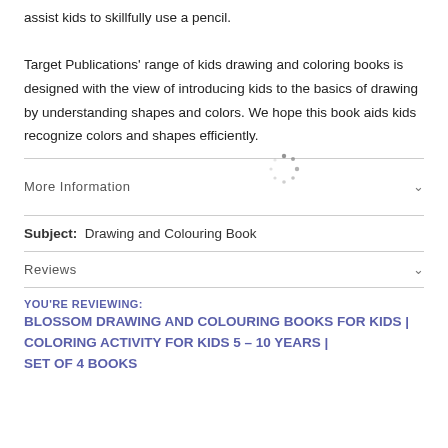assist kids to skillfully use a pencil.

Target Publications' range of kids drawing and coloring books is designed with the view of introducing kids to the basics of drawing by understanding shapes and colors. We hope this book aids kids recognize colors and shapes efficiently.
More Information
Subject:  Drawing and Colouring Book
Reviews
YOU'RE REVIEWING:
BLOSSOM DRAWING AND COLOURING BOOKS FOR KIDS | COLORING ACTIVITY FOR KIDS 5 – 10 YEARS | SET OF 4 BOOKS